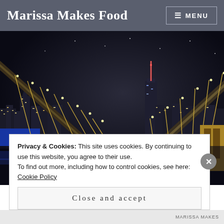Marissa Makes Food
[Figure (photo): Night photograph of the Brooklyn Bridge with the Manhattan skyline illuminated in the background, taken from the water level]
Privacy & Cookies: This site uses cookies. By continuing to use this website, you agree to their use.
To find out more, including how to control cookies, see here: Cookie Policy
Close and accept